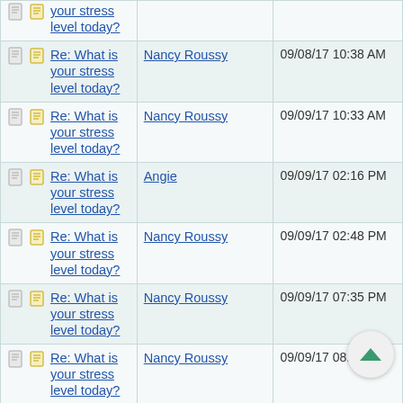| Topic | Author | Date |
| --- | --- | --- |
| Re: What is your stress level today? |  |  |
| Re: What is your stress level today? | Nancy Roussy | 09/08/17 10:38 AM |
| Re: What is your stress level today? | Nancy Roussy | 09/09/17 10:33 AM |
| Re: What is your stress level today? | Angie | 09/09/17 02:16 PM |
| Re: What is your stress level today? | Nancy Roussy | 09/09/17 02:48 PM |
| Re: What is your stress level today? | Nancy Roussy | 09/09/17 07:35 PM |
| Re: What is your stress level today? | Nancy Roussy | 09/09/17 08:45 PM |
| Re: What is your stress level today? | Angie | 09/09/17 09:00 PM |